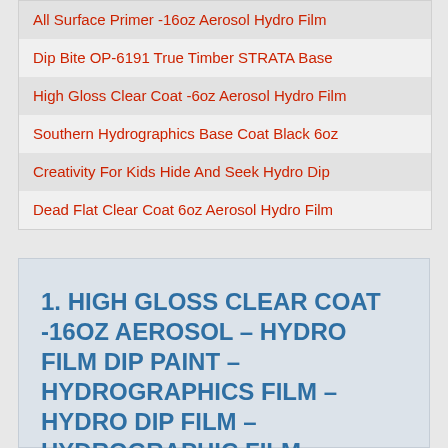All Surface Primer -16oz Aerosol Hydro Film
Dip Bite OP-6191 True Timber STRATA Base
High Gloss Clear Coat -6oz Aerosol Hydro Film
Southern Hydrographics Base Coat Black 6oz
Creativity For Kids Hide And Seek Hydro Dip
Dead Flat Clear Coat 6oz Aerosol Hydro Film
1. HIGH GLOSS CLEAR COAT -16OZ AEROSOL – HYDRO FILM DIP PAINT – HYDROGRAPHICS FILM – HYDRO DIP FILM – HYDROGRAPHIC FILM – WATER TRANSFER PRINTING